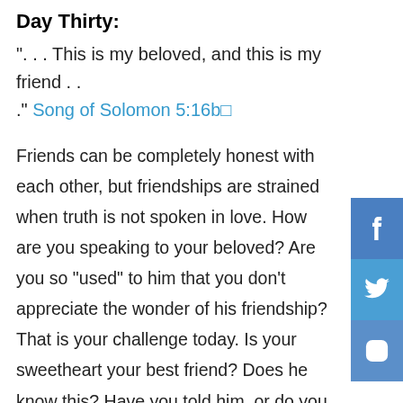Day Thirty:
“. . . This is my beloved, and this is my friend . . .” Song of Solomon 5:16b□
Friends can be completely honest with each other, but friendships are strained when truth is not spoken in love. How are you speaking to your beloved? Are you so “used” to him that you don’t appreciate the wonder of his friendship? That is your challenge today. Is your sweetheart your best friend? Does he know this? Have you told him, or do you assume he “just knows”?
[Figure (infographic): Social media share buttons: Facebook, Twitter, Instagram icons on blue background on the right side of the page]